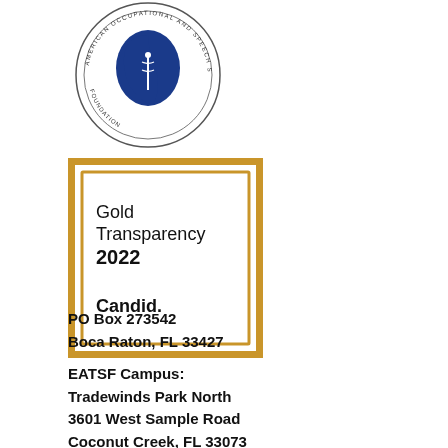[Figure (logo): Circular medical organization seal/logo with a blue profile of a face and caduceus symbol in the center, with text around the border (American Occupational Therapy Association style medical organization)]
[Figure (logo): Gold Transparency 2022 Candid. badge — a gold-bordered square containing text: 'Gold Transparency 2022' and 'Candid.']
PO Box 273542
Boca Raton, FL 33427

EATSF Campus:
Tradewinds Park North
3601 West Sample Road
Coconut Creek, FL 33073